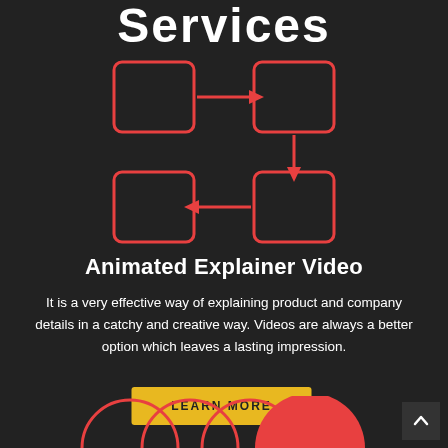Services
[Figure (flowchart): Four rounded squares arranged in a 2x2 grid connected by red arrows: top-left to top-right (right arrow), top-right to bottom-right (down arrow), bottom-right to bottom-left (left arrow). Represents a process loop/cycle diagram in red outline on dark background.]
Animated Explainer Video
It is a very effective way of explaining product and company details in a catchy and creative way. Videos are always a better option which leaves a lasting impression.
LEARN MORE
[Figure (illustration): Partial view of overlapping red/pink arch shapes at the bottom of the page]